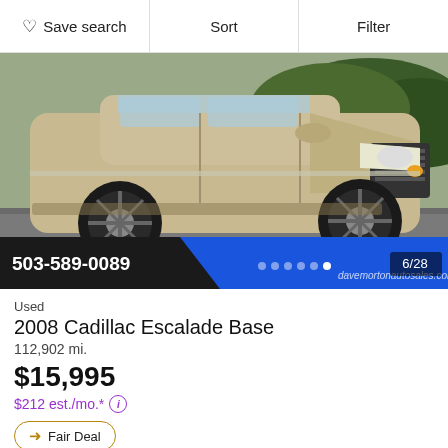Save search   Sort   Filter
[Figure (photo): Photo of a gold/champagne 2008 Cadillac Escalade Base SUV parked in a lot, front three-quarter view. Bottom overlay shows phone number 503-589-0089, blue diagonal banner, dots navigation, photo count 6/28, and watermark davemortonautosales.com]
Used
2008 Cadillac Escalade Base
112,902 mi.
$15,995
$212 est./mo.* ⓘ
Fair Deal